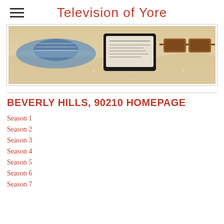Television of Yore
[Figure (photo): Beach scene with a hat, tablet/e-reader, and sunglasses on sandy surface]
BEVERLY HILLS, 90210 HOMEPAGE
Season 1
Season 2
Season 3
Season 4
Season 5
Season 6
Season 7